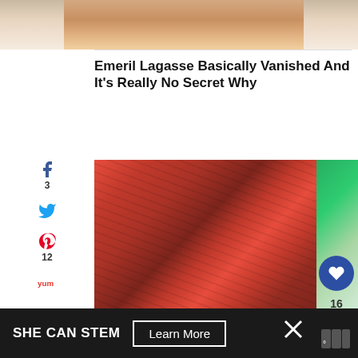[Figure (photo): Partial cropped photo of Emeril Lagasse's chin/face area]
Emeril Lagasse Basically Vanished And It's Really No Secret Why
[Figure (photo): Stacked raw red meat slices on a green background]
Ever Wonder Why Aldi's Meat Is So Suspiciously Cheap?
[Figure (other): Advertisement bar: SHE CAN STEM with Learn More button]